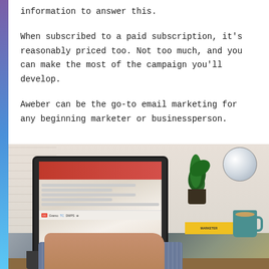information to answer this.
When subscribed to a paid subscription, it's reasonably priced too. Not too much, and you can make the most of the campaign you'll develop.
Aweber can be the go-to email marketing for any beginning marketer or businessperson.
[Figure (photo): Person typing on a MacBook laptop at a desk. Background shows a potted plant, a globe/ball ornament, yellow books, and a teal coffee mug. The person is wearing a blue checkered shirt. The laptop screen shows what appears to be an email or document interface.]